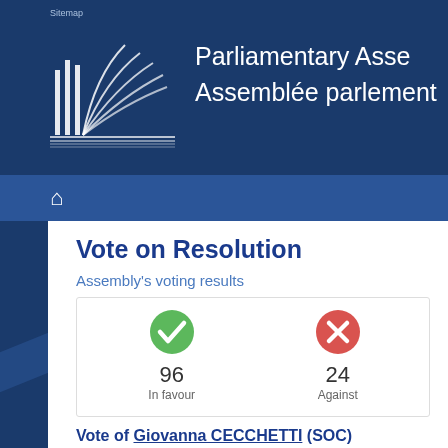Parliamentary Assembly / Assemblée parlementaire
Vote on Resolution
Assembly's voting results
| In favour | Against |
| --- | --- |
| 96 | 24 |
Vote of Giovanna CECCHETTI (SOC)